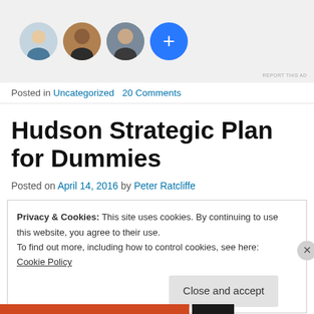[Figure (photo): Top banner with three circular avatar photos and a blue circle with a plus sign, on a grey background. Small 'REPORT THIS AD' text bottom right.]
Posted in Uncategorized   20 Comments
Hudson Strategic Plan for Dummies
Posted on April 14, 2016 by Peter Ratcliffe
Privacy & Cookies: This site uses cookies. By continuing to use this website, you agree to their use.
To find out more, including how to control cookies, see here: Cookie Policy
Close and accept